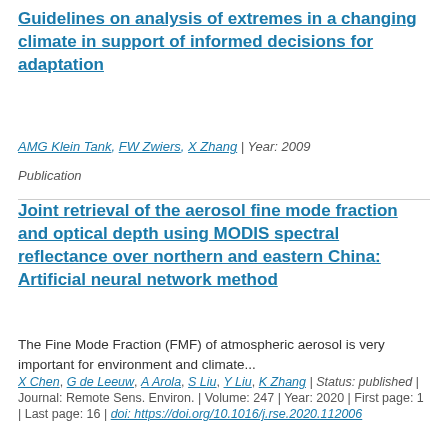Guidelines on analysis of extremes in a changing climate in support of informed decisions for adaptation
AMG Klein Tank, FW Zwiers, X Zhang | Year: 2009
Publication
Joint retrieval of the aerosol fine mode fraction and optical depth using MODIS spectral reflectance over northern and eastern China: Artificial neural network method
The Fine Mode Fraction (FMF) of atmospheric aerosol is very important for environment and climate...
X Chen, G de Leeuw, A Arola, S Liu, Y Liu, K Zhang | Status: published | Journal: Remote Sens. Environ. | Volume: 247 | Year: 2020 | First page: 1 | Last page: 16 | doi: https://doi.org/10.1016/j.rse.2020.112006